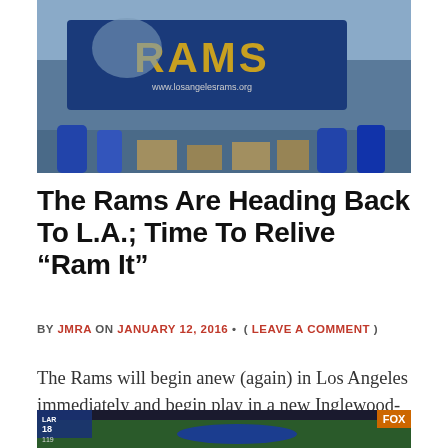[Figure (photo): Fans holding a Los Angeles Rams banner with text 'RAMS' and website www.losangelesrams.org]
The Rams Are Heading Back To L.A.; Time To Relive “Ram It”
BY JMRA ON JANUARY 12, 2016 • ( LEAVE A COMMENT )
The Rams will begin anew (again) in Los Angeles immediately and begin play in a new Inglewood-based stadium in 2019. While the San Diego Chargers may or may not join them, the return to L.A. marks the first time the Rams will play in the “City of Angels” [...]
[Figure (photo): Football game broadcast screenshot with FOX logo, showing a player in blue uniform on the field]